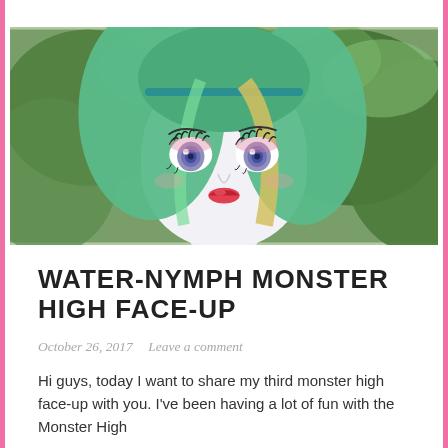[Figure (photo): Close-up photo of a Monster High doll with green and blonde hair, large blue eyes, pink eye shadow, and red lips, photographed outdoors with green foliage in the background.]
WATER-NYMPH MONSTER HIGH FACE-UP
October 26, 2017   Leave a comment
Hi guys, today I want to share my third monster high face-up with you. I've been having a lot of fun with the Monster High